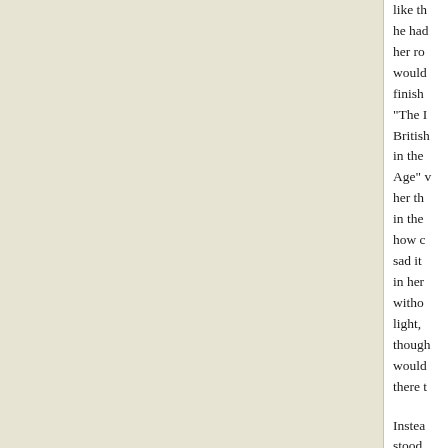like th he had her ro would finish "The British in the Age" her th in the how c sad it in her witho light, though would there t Instead stood said n until h a look